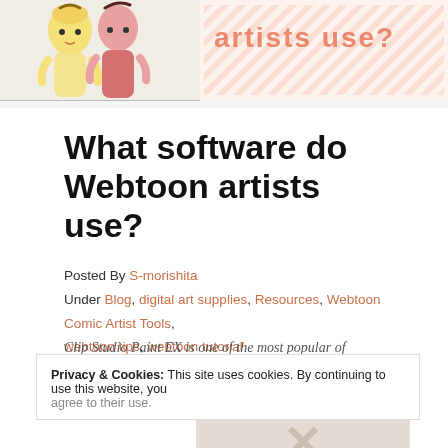[Figure (illustration): Top banner with illustrated anime-style figures on left (yellow and pink characters) and decorative text 'artists use?' on patterned background on right]
What software do Webtoon artists use?
Posted By S-morishita
Under Blog, digital art supplies, Resources, Webtoon Comic Artist Tools, webtoon tips, webtoon tutorial
Clip Studio Paint EX is one of the most popular of...
Privacy & Cookies: This site uses cookies. By continuing to use this website, you agree to their use.
[Figure (other): Video player overlay showing 'No compatible source was found for this media.' with large X icon]